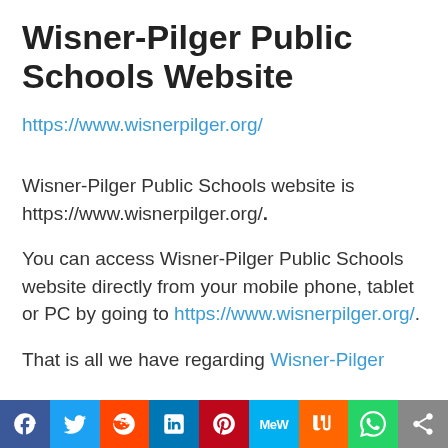Wisner-Pilger Public Schools Website
https://www.wisnerpilger.org/
Wisner-Pilger Public Schools website is https://www.wisnerpilger.org/.
You can access Wisner-Pilger Public Schools website directly from your mobile phone, tablet or PC by going to https://www.wisnerpilger.org/.
That is all we have regarding Wisner-Pilger